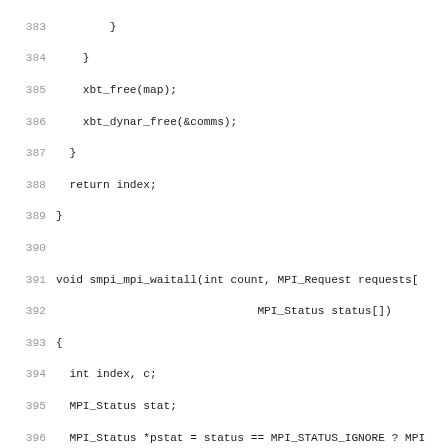[Figure (other): Source code listing in C showing lines 383-414 of MPI implementation. Functions include smpi_mpi_waitall and beginning of smpi_mpi_waitsome.]